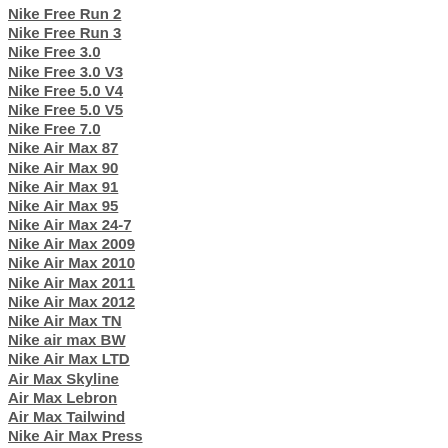Nike Free Run 2
Nike Free Run 3
Nike Free 3.0
Nike Free 3.0 V3
Nike Free 5.0 V4
Nike Free 5.0 V5
Nike Free 7.0
Nike Air Max 87
Nike Air Max 90
Nike Air Max 91
Nike Air Max 95
Nike Air Max 24-7
Nike Air Max 2009
Nike Air Max 2010
Nike Air Max 2011
Nike Air Max 2012
Nike Air Max TN
Nike air max BW
Nike Air Max LTD
Air Max Skyline
Air Max Lebron
Air Max Tailwind
Nike Air Max Press
Nike Dunk SB
Nike Air Max Preview
Talons Nike Dunk
Talons Jordan
Nike Dunk High Heel